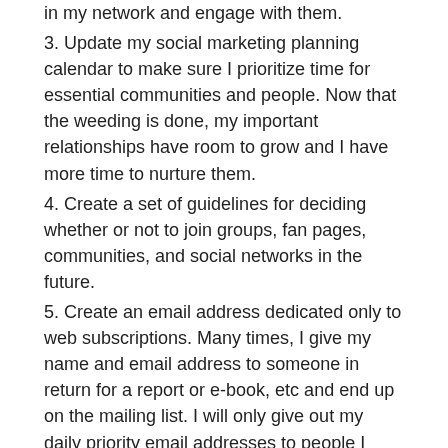in my network and engage with them.
3. Update my social marketing planning calendar to make sure I prioritize time for essential communities and people. Now that the weeding is done, my important relationships have room to grow and I have more time to nurture them.
4. Create a set of guidelines for deciding whether or not to join groups, fan pages, communities, and social networks in the future.
5. Create an email address dedicated only to web subscriptions. Many times, I give my name and email address to someone in return for a report or e-book, etc and end up on the mailing list. I will only give out my daily priority email addresses to people I meet in person or want to meet in person.
How about you? What can you do to weed out